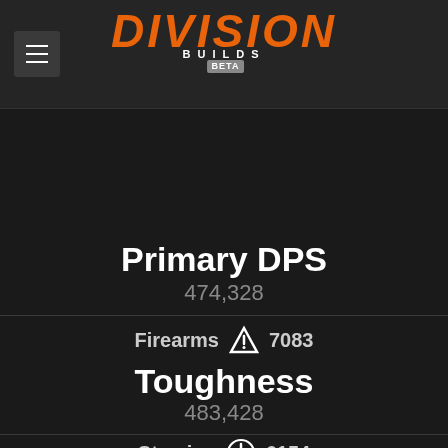DIVISION BUILDS BETA
Primary DPS
474,328
Firearms 7083
Toughness
483,428
Stamina 6154
Skill Power